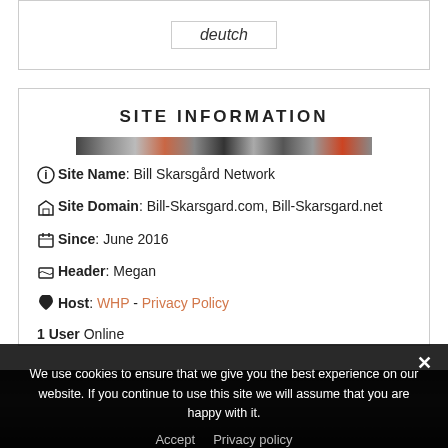deutch
SITE INFORMATION
[Figure (photo): Narrow banner/header image strip showing photos]
Site Name: Bill Skarsgård Network
Site Domain: Bill-Skarsgard.com, Bill-Skarsgard.net
Since: June 2016
Header: Megan
Host: WHP - Privacy Policy
1 User Online
We use cookies to ensure that we give you the best experience on our website. If you continue to use this site we will assume that you are happy with it.
Accept  Privacy policy
[Figure (photo): Dark photo of people at the bottom of the page]